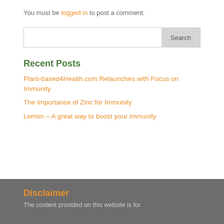You must be logged in to post a comment.
Search
Recent Posts
Plant-based4Health.com Relaunches with Focus on Immunity
The Importance of Zinc for Immunity
Lemon – A great way to boost your immunity
Disclaimer
The content provided on this website is for